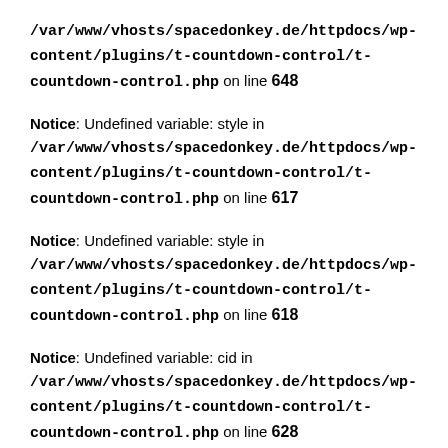/var/www/vhosts/spacedonkey.de/httpdocs/wp-content/plugins/t-countdown-control/t-countdown-control.php on line 648
Notice: Undefined variable: style in /var/www/vhosts/spacedonkey.de/httpdocs/wp-content/plugins/t-countdown-control/t-countdown-control.php on line 617
Notice: Undefined variable: style in /var/www/vhosts/spacedonkey.de/httpdocs/wp-content/plugins/t-countdown-control/t-countdown-control.php on line 618
Notice: Undefined variable: cid in /var/www/vhosts/spacedonkey.de/httpdocs/wp-content/plugins/t-countdown-control/t-countdown-control.php on line 628